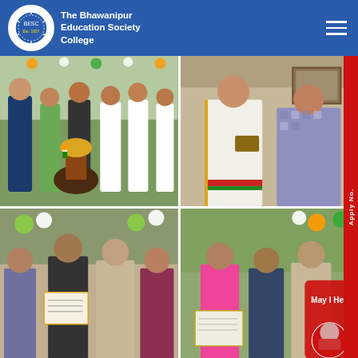The Bhawanipur Education Society College
[Figure (photo): Group of young men holding a trophy with Indian flag colors at an outdoor event with green and white decorations]
[Figure (photo): Two women in traditional Indian attire (sarees), one in white saree with green/red border holding papers]
[Figure (photo): Award ceremony with students and dignitaries holding certificates/plaques at outdoor event with balloon decorations]
[Figure (photo): Award ceremony with female student in pink dress receiving award from elderly man, with orange/green balloons in background]